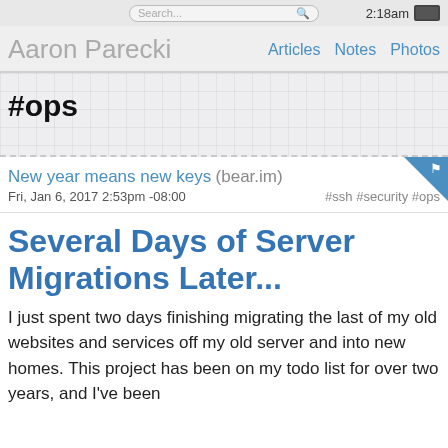Search... 2:18am [battery]
Aaron Parecki — Articles Notes Photos
#ops
New year means new keys (bear.im)
Fri, Jan 6, 2017 2:53pm -08:00   #ssh #security #ops
Several Days of Server Migrations Later...
I just spent two days finishing migrating the last of my old websites and services off my old server and into new homes. This project has been on my todo list for over two years, and I've been